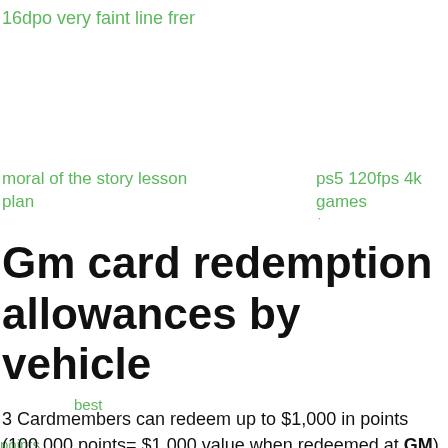16dpo very faint line frer
moral of the story lesson plan
ps5 120fps 4k games
Gm card redemption allowances by vehicle
best
points
3 Cardmembers can redeem up to $1,000 in points (100,000 points= $1,000 value when redeemed at GM) per calendar year toward
stop
engine